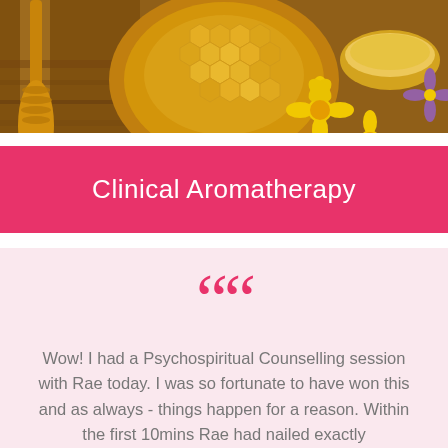[Figure (photo): Close-up photo of honeycomb, honey dipper, yellow flowers, and bowls of honey on a wooden surface]
Clinical Aromatherapy
Wow! I had a Psychospiritual Counselling session with Rae today. I was so fortunate to have won this and as always - things happen for a reason. Within the first 10mins Rae had nailed exactly